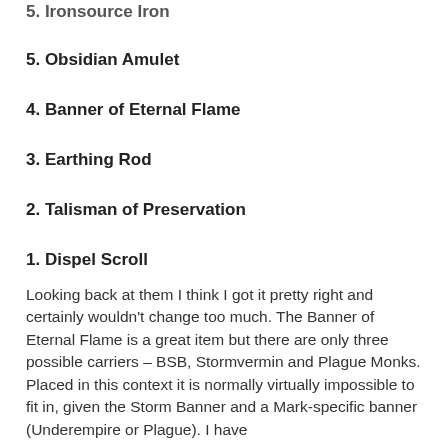5. Ironsource Iron
5. Obsidian Amulet
4. Banner of Eternal Flame
3. Earthing Rod
2. Talisman of Preservation
1. Dispel Scroll
Looking back at them I think I got it pretty right and certainly wouldn't change too much. The Banner of Eternal Flame is a great item but there are only three possible carriers – BSB, Stormvermin and Plague Monks. Placed in this context it is normally virtually impossible to fit in, given the Storm Banner and a Mark-specific banner (Underempire or Plague). I have